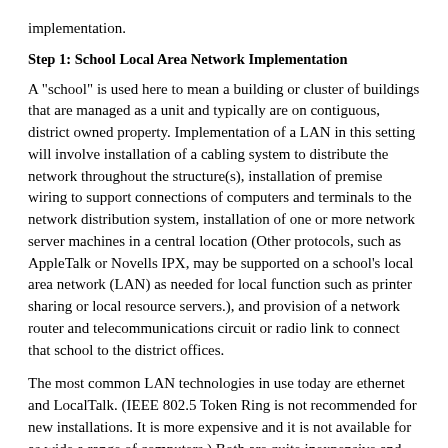implementation.
Step 1: School Local Area Network Implementation
A "school" is used here to mean a building or cluster of buildings that are managed as a unit and typically are on contiguous, district owned property. Implementation of a LAN in this setting will involve installation of a cabling system to distribute the network throughout the structure(s), installation of premise wiring to support connections of computers and terminals to the network distribution system, installation of one or more network server machines in a central location (Other protocols, such as AppleTalk or Novells IPX, may be supported on a school's local area network (LAN) as needed for local function such as printer sharing or local resource servers.), and provision of a network router and telecommunications circuit or radio link to connect that school to the district offices.
The most common LAN technologies in use today are ethernet and LocalTalk. (IEEE 802.5 Token Ring is not recommended for new installations. It is more expensive and it is not available for as wide a range of computers.) Both are quite inexpensive and easy to install and maintain. Ethernet is adaptable to most modern computers and is built-in to high performance workstations such as Sun, Hewlett-Packard, SGI, or Digital Equipment Corporation